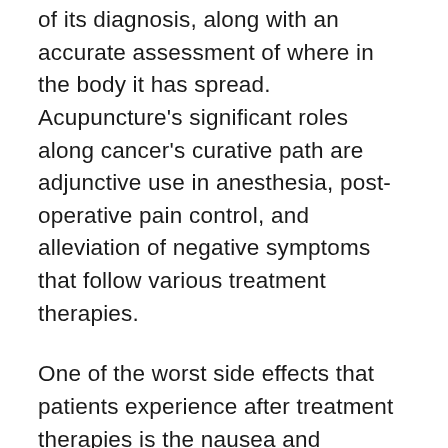of its diagnosis, along with an accurate assessment of where in the body it has spread. Acupuncture's significant roles along cancer's curative path are adjunctive use in anesthesia, post-operative pain control, and alleviation of negative symptoms that follow various treatment therapies.
One of the worst side effects that patients experience after treatment therapies is the nausea and vomiting after chemotherapy. For some, this is worse than the disease itself. Acupuncture can significantly reduce this via its access to regulating the entire GI tract. It also helps by stimulating the release of endorphins. These “feel good” brain chemicals reduce the painful and unpleasant sensations all over the